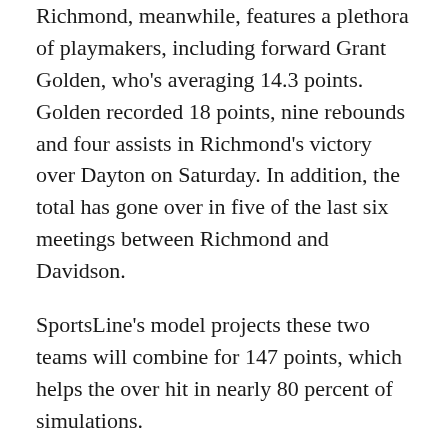Richmond, meanwhile, features a plethora of playmakers, including forward Grant Golden, who's averaging 14.3 points. Golden recorded 18 points, nine rebounds and four assists in Richmond's victory over Dayton on Saturday. In addition, the total has gone over in five of the last six meetings between Richmond and Davidson.
SportsLine's model projects these two teams will combine for 147 points, which helps the over hit in nearly 80 percent of simulations.
How to watch, live stream college basketball on CBS
Now that you know what to pick, get ready to